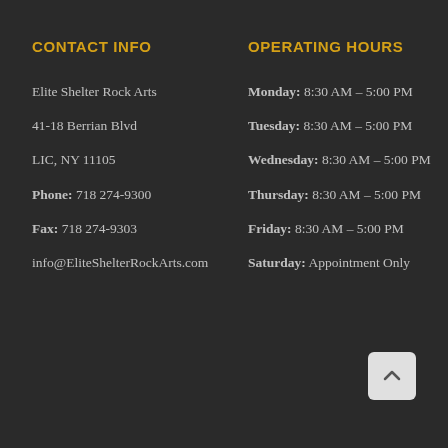CONTACT INFO
OPERATING HOURS
Elite Shelter Rock Arts
41-18 Berrian Blvd
LIC, NY 11105
Phone: 718 274-9300
Fax: 718 274-9303
info@EliteShelterRockArts.com
Monday: 8:30 AM – 5:00 PM
Tuesday: 8:30 AM – 5:00 PM
Wednesday: 8:30 AM – 5:00 PM
Thursday: 8:30 AM – 5:00 PM
Friday: 8:30 AM – 5:00 PM
Saturday: Appointment Only